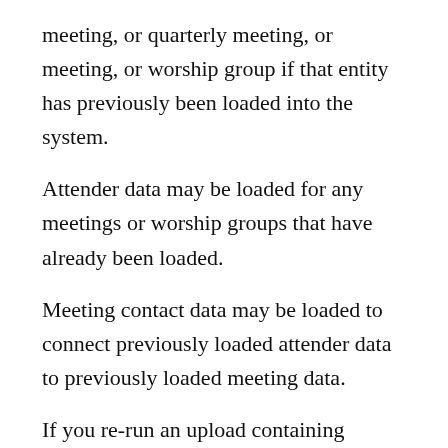meeting, or quarterly meeting, or meeting, or worship group if that entity has previously been loaded into the system.
Attender data may be loaded for any meetings or worship groups that have already been loaded.
Meeting contact data may be loaded to connect previously loaded attender data to previously loaded meeting data.
If you re-run an upload containing previously uploaded data the duplicate rows will be